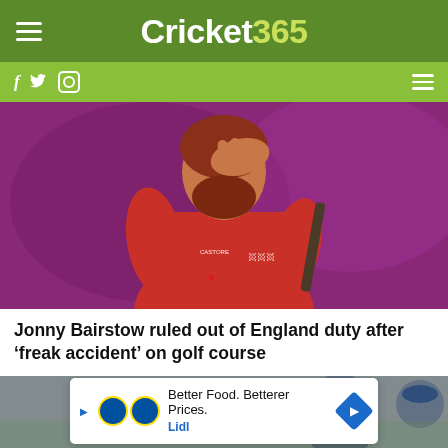Cricket 365
[Figure (screenshot): Cricket365 website header with green navigation bar showing hamburger menu, Cricket365 logo (Cricket in white, 365 in lime green), and social media icons (Facebook, Twitter, Instagram) on sub-navigation bar]
[Figure (photo): Jonny Bairstow in England red cricket kit with hand on forehead in distressed pose, purple background]
Jonny Bairstow ruled out of England duty after ‘freak accident’ on golf course
[Figure (photo): Partial photo of England cricket players in blue caps]
Better Food. Betterer Prices. Lidl